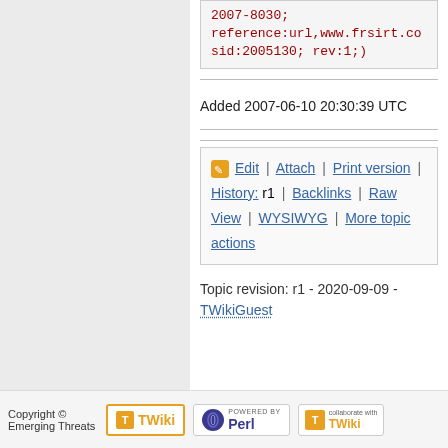2007-8030; reference:url,www.frsirt.co sid:2005130; rev:1;)
Added 2007-06-10 20:30:39 UTC
Edit | Attach | Print version | History: r1 | Backlinks | Raw View | WYSIWYG | More topic actions
Topic revision: r1 - 2020-09-09 - TWikiGuest
Copyright © Emerging Threats  [TWiki badge] [Powered by Perl badge] [Collaborate with TWiki badge]